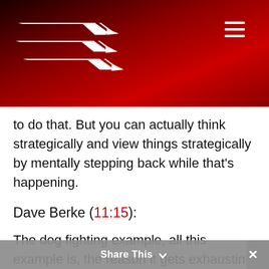EE logo and navigation header with hamburger menu
to do that. But you can actually think strategically and view things strategically by mentally stepping back while that's happening.
Dave Berke (11:15):
The dog fighting example, all this example is, the reason it gets exhausting and you don't see any way out of it, is you're doing tactical for tactical sake. Tactical for tactical sake. That cycle never ends and that's the hamster wheel is, how do I think strategically? Well, you